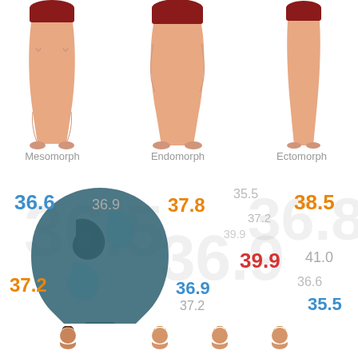[Figure (infographic): Three male body type illustrations labeled Mesomorph (muscular), Endomorph (stocky/heavier), and Ectomorph (slim), shown from waist down wearing dark red briefs, with labels below each figure.]
Mesomorph
Endomorph
Ectomorph
[Figure (infographic): Infographic showing various BMI or body measurement numbers scattered across a background featuring a silhouette of a human head profile. Numbers shown: 36.6 (blue), 36.9 (gray), 37.8 (orange), 35.5 (gray), 38.5 (orange), 37.2 (gray), 39.9 (gray small), 39.9 (red large), 37.2 (orange), 36.9 (blue), 37.2 (gray), 41.0 (gray), 36.6 (gray), 35.5 (blue). Large faded background numbers: 36.5, 36.9, 36.8.]
[Figure (infographic): Row of small human avatar icons at the bottom of the page — one darker-haired and several lighter/orange-haired figures.]